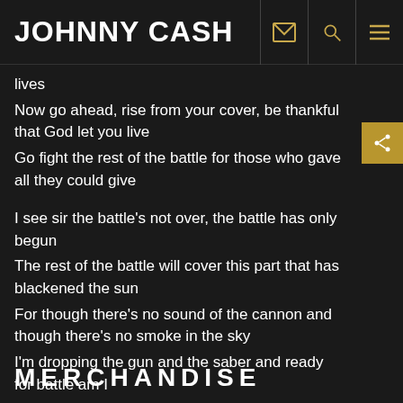JOHNNY CASH
lives
Now go ahead, rise from your cover, be thankful that God let you live
Go fight the rest of the battle for those who gave all they could give
I see sir the battle's not over, the battle has only begun
The rest of the battle will cover this part that has blackened the sun
For though there's no sound of the cannon and though there's no smoke in the sky
I'm dropping the gun and the saber and ready for battle am I
MERCHANDISE